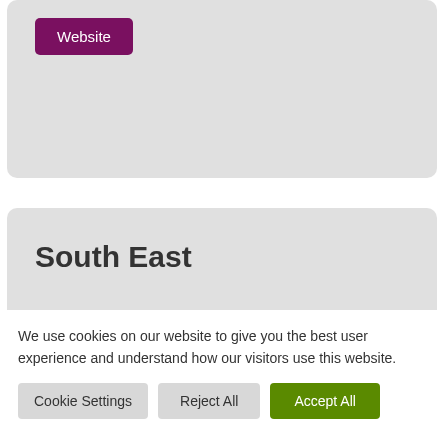[Figure (screenshot): Partial card with a purple 'Website' button on a light grey rounded card background]
South East
Roy Millard
[Figure (screenshot): Purple 'Email' button]
We use cookies on our website to give you the best user experience and understand how our visitors use this website.
Cookie Settings   Reject All   Accept All